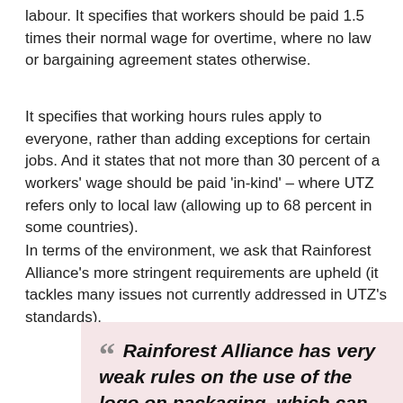labour. It specifies that workers should be paid 1.5 times their normal wage for overtime, where no law or bargaining agreement states otherwise.
It specifies that working hours rules apply to everyone, rather than adding exceptions for certain jobs. And it states that not more than 30 percent of a workers' wage should be paid 'in-kind' – where UTZ refers only to local law (allowing up to 68 percent in some countries).
In terms of the environment, we ask that Rainforest Alliance's more stringent requirements are upheld (it tackles many issues not currently addressed in UTZ's standards).
“ Rainforest Alliance has very weak rules on the use of the logo on packaging, which can be used when just 30% of one ingredient is certified. These rules need to be